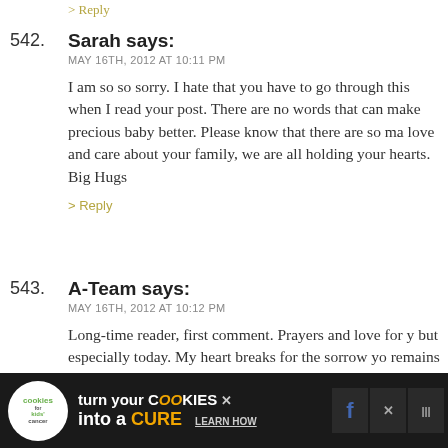> Reply
542. Sarah says:
MAY 16TH, 2012 AT 10:11 PM
I am so so sorry. I hate that you have to go through this when I read your post. There are no words that can make precious baby better. Please know that there are so many love and care about your family, we are all holding your hearts. Big Hugs
> Reply
543. A-Team says:
MAY 16TH, 2012 AT 10:12 PM
Long-time reader, first comment. Prayers and love for you but especially today. My heart breaks for the sorrow you remains hopeful for the day you welcome a new addition family. Hugs, hugs, and more hugs. Wish I could offer more to help make the heartache hurt less. I don't know actually goes away, just dulls over time.
[Figure (screenshot): Advertisement banner: cookies for kids' cancer — turn your COOKIES into a CURE, LEARN HOW. Dark background with social media icons.]